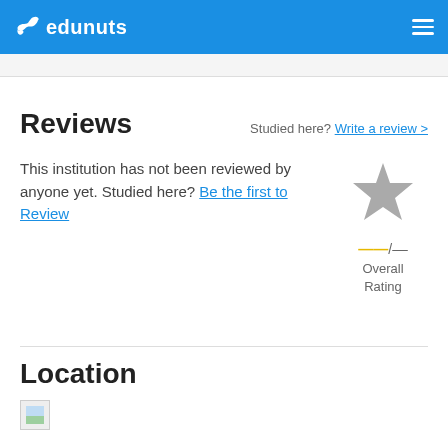edunuts
Reviews
Studied here? Write a review >
This institution has not been reviewed by anyone yet. Studied here? Be the first to Review
[Figure (other): Gray star icon representing unrated institution, with rating score shown as dashes]
-- / --
Overall Rating
Location
[Figure (other): Map placeholder image]